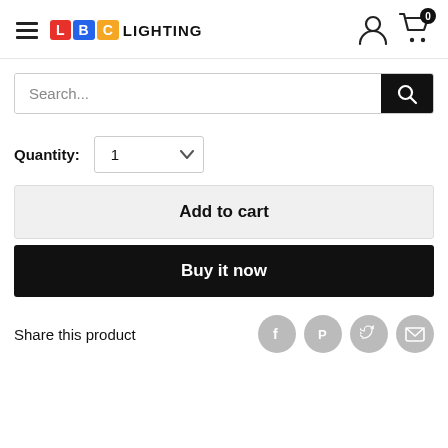[Figure (logo): LBC Lighting logo with colored letter blocks L, B, C and the text LIGHTING]
Search...
Quantity: 1
Add to cart
Buy it now
Share this product